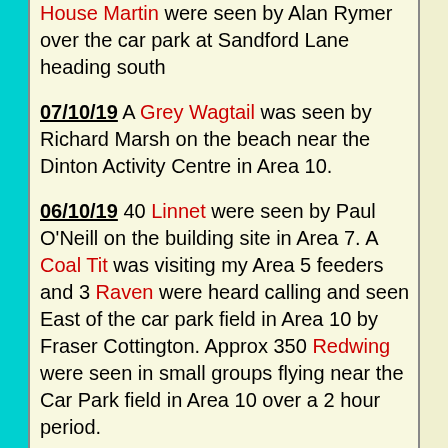House Martin were seen by Alan Rymer over the car park at Sandford Lane heading south
07/10/19 A Grey Wagtail was seen by Richard Marsh on the beach near the Dinton Activity Centre in Area 10.
06/10/19 40 Linnet were seen by Paul O'Neill on the building site in Area 7. A Coal Tit was visiting my Area 5 feeders and 3 Raven were heard calling and seen East of the car park field in Area 10 by Fraser Cottington. Approx 350 Redwing were seen in small groups flying near the Car Park field in Area 10 over a 2 hour period.
05/10/19 A Tawny Owl was heard calling East of the car park field at 06:20 this morning by Fraser Cottington.
03/10/19 In Area 10, 20+ House